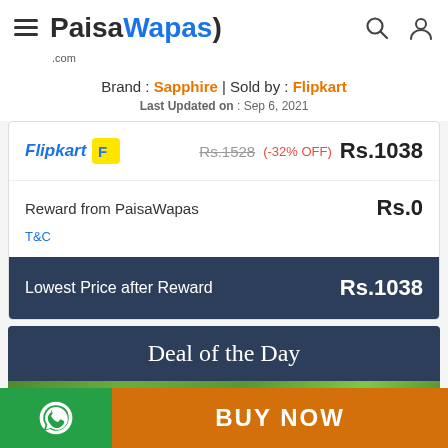PaisaWapas.com
Brand : Sapphire | Sold by : Flipkart
Last Updated on : Sep 6, 2021
| Store | Original Price | Discount | Final Price |
| --- | --- | --- | --- |
| Flipkart | Rs.1528 | (-32% OFF) | Rs.1038 |
| Reward from PaisaWapas |  |  | Rs.0 |
| Lowest Price after Reward |  |  | Rs.1038 |
Deal of the Day
[Figure (photo): Partial image of green foliage/trees visible below Deal of the Day banner]
BUY NOW